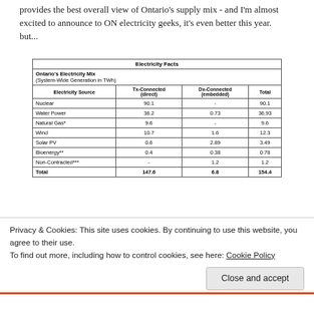provides the best overall view of Ontario's supply mix - and I'm almost excited to announce to ON electricity geeks, it's even better this year.
but...
| Electricity Source | Tx-Connected (direct) | Dx-Connected (embedded) | Total |
| --- | --- | --- | --- |
| Nuclear | 90.1 | - | 90.1 |
| Water Power | 36.2 | 0.73 | 36.93 |
| Natural Gas* | 9.6 | - | 9.6 |
| Wind | 10.7 | 1.6 | 12.3 |
| Solar PV | 0.6 | 2.89 | 3.49 |
| Bioenergy** | 0.4 | 0.38 | 0.78 |
| Non-Contracted*** | - | 1.2 | 1.2 |
| Total | 147.6 | 6.8 | 154.4 |
* Includes Lennox, dual fuel (ng/bio) consistent with IESO.
** IESO's embedded generation data set merges biomass and gas.
Privacy & Cookies: This site uses cookies. By continuing to use this website, you agree to their use.
To find out more, including how to control cookies, see here: Cookie Policy